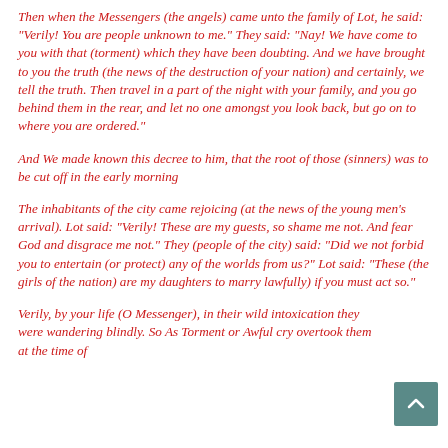Then when the Messengers (the angels) came unto the family of Lot, he said: "Verily! You are people unknown to me." They said: "Nay! We have come to you with that (torment) which they have been doubting. And we have brought to you the truth (the news of the destruction of your nation) and certainly, we tell the truth. Then travel in a part of the night with your family, and you go behind them in the rear, and let no one amongst you look back, but go on to where you are ordered."
And We made known this decree to him, that the root of those (sinners) was to be cut off in the early morning
The inhabitants of the city came rejoicing (at the news of the young men's arrival). Lot said: "Verily! These are my guests, so shame me not. And fear God and disgrace me not." They (people of the city) said: "Did we not forbid you to entertain (or protect) any of the worlds from us?" Lot said: "These (the girls of the nation) are my daughters to marry lawfully) if you must act so."
Verily, by your life (O Messenger), in their wild intoxication they were wandering blindly. So As Torment or Awful cry overtook them at the time of sunrise. And We turned (the towns of Sodom in ...